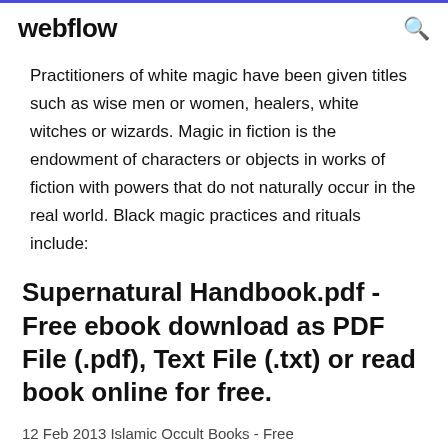webflow
Practitioners of white magic have been given titles such as wise men or women, healers, white witches or wizards. Magic in fiction is the endowment of characters or objects in works of fiction with powers that do not naturally occur in the real world. Black magic practices and rituals include:
Supernatural Handbook.pdf - Free ebook download as PDF File (.pdf), Text File (.txt) or read book online for free.
12 Feb 2013 Islamic Occult Books - Free